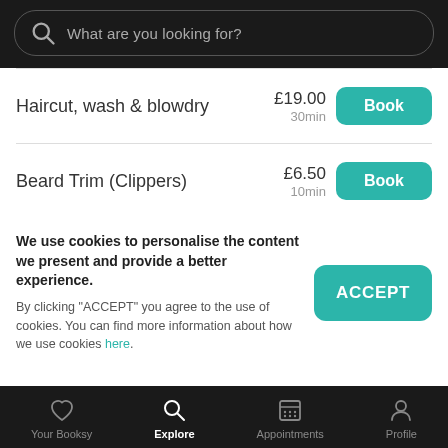What are you looking for?
Haircut, wash & blowdry | £19.00 | 30min | Book
Beard Trim (Clippers) | £6.50 | 10min | Book
We use cookies to personalise the content we present and provide a better experience. By clicking "ACCEPT" you agree to the use of cookies. You can find more information about how we use cookies here.
Your Booksy | Explore | Appointments | Profile